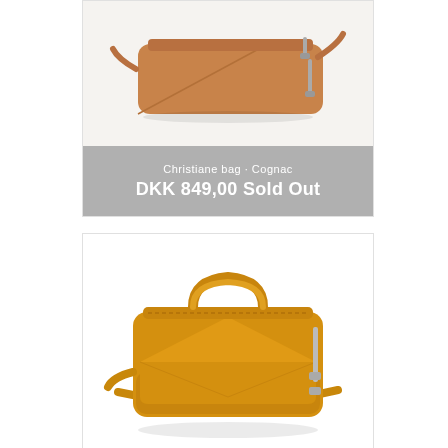[Figure (photo): Cognac colored leather crossbody bag shown from slightly above angle with silver zipper hardware and shoulder strap]
Christiane bag · Cognac
DKK 849,00 Sold Out
[Figure (photo): Mustard yellow leather satchel bag with top handle, envelope-style front flap, silver zipper hardware on sides, and crossbody strap]